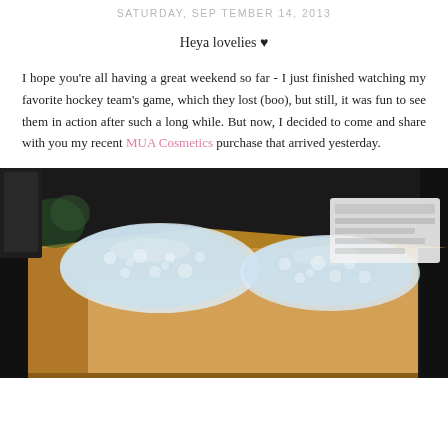SATURDAY, SEPTEMBER 14, 2013
Heya lovelies ♥
I hope you're all having a great weekend so far - I just finished watching my favorite hockey team's game, which they lost (boo), but still, it was fun to see them in action after such a long while. But now, I decided to come and share with you my recent MUA Cosmetics purchase that arrived yesterday.
[Figure (photo): A cardboard shipping box filled with bubble wrap packaging material, photographed on a dark surface. A shipping label is visible in the background.]